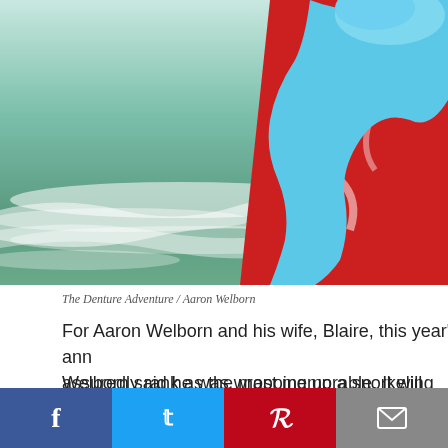[Figure (photo): Beach scene with ocean waves in the background; person wrapped in a light blue towel over a red and white patterned item, visible from behind on the right side of the image.]
The Denture Adventure / Aaron Welborn
For Aaron Welborn and his wife, Blaire, this year's anniversary will assuredly rank as the most memorable. It will forever be linked to another family's, who they've never met.
Welborn said he was wrapping up a snorkeling adventure with a beach rental. He'd taken off his fins and snorkel and w...
"I'm just like well, I'm going to put my goggles on and and maybe, just by chance I'll find something and I stu...
[Figure (infographic): Social share bar with four buttons: Facebook (blue), Twitter (light blue), Pinterest (red), Email (gray)]